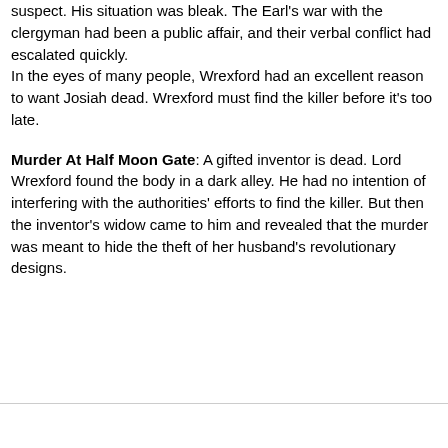suspect. His situation was bleak. The Earl's war with the clergyman had been a public affair, and their verbal conflict had escalated quickly.
In the eyes of many people, Wrexford had an excellent reason to want Josiah dead. Wrexford must find the killer before it's too late.
Murder At Half Moon Gate: A gifted inventor is dead. Lord Wrexford found the body in a dark alley. He had no intention of interfering with the authorities' efforts to find the killer. But then the inventor's widow came to him and revealed that the murder was meant to hide the theft of her husband's revolutionary designs.